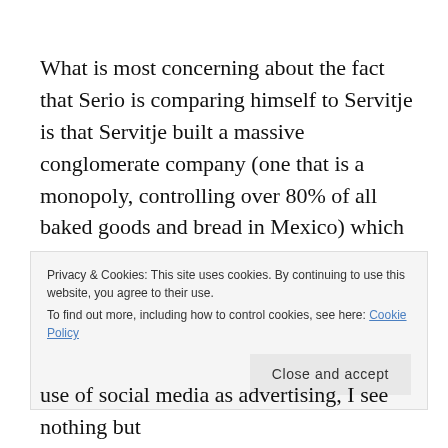What is most concerning about the fact that Serio is comparing himself to Servitje is that Servitje built a massive conglomerate company (one that is a monopoly, controlling over 80% of all baked goods and bread in Mexico) which brings in around 8.9 billion dollars a year on profit. But Serio claims to be dedicated to rescuing his angels, not turning them into a source of
Privacy & Cookies: This site uses cookies. By continuing to use this website, you agree to their use.
To find out more, including how to control cookies, see here: Cookie Policy
[Close and accept]
use of social media as advertising, I see nothing but